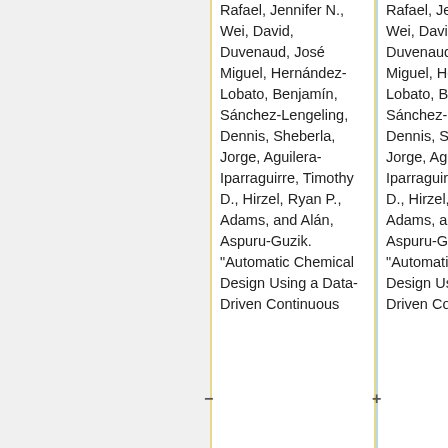Rafael, Jennifer N., Wei, David, Duvenaud, José Miguel, Hernández-Lobato, Benjamín, Sánchez-Lengeling, Dennis, Sheberla, Jorge, Aguilera-Iparraguirre, Timothy D., Hirzel, Ryan P., Adams, and Alán, Aspuru-Guzik. "Automatic Chemical Design Using a Data-Driven Continuous
Rafael, Jennifer N., Wei, David, Duvenaud, José Miguel, Hernández-Lobato, Benjamín, Sánchez-Lengeling, Dennis, Sheberla, Jorge, Aguilera-Iparraguirre, Timothy D., Hirzel, Ryan P., Adams, and Alán, Aspuru-Guzik. "Automatic Chemical Design Using a Data-Driven Continuous